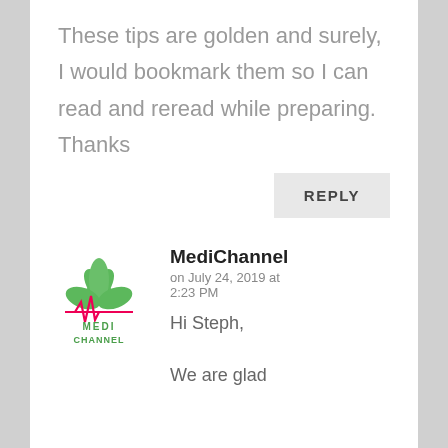These tips are golden and surely, I would bookmark them so I can read and reread while preparing. Thanks
REPLY
[Figure (logo): MediChannel logo with green leaf and red heartbeat line]
MediChannel
on July 24, 2019 at 2:23 PM
Hi Steph,
We are glad